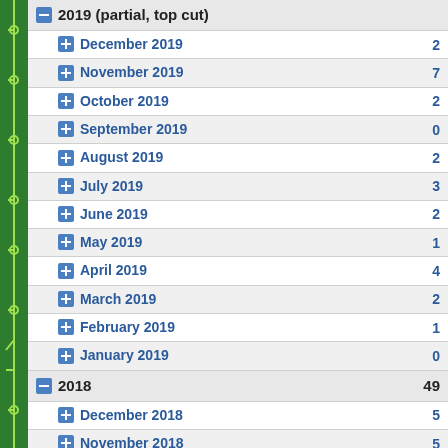| Month/Year | Count |
| --- | --- |
| December 2019 | 2 |
| November 2019 | 7 |
| October 2019 | 2 |
| September 2019 | 0 |
| August 2019 | 2 |
| July 2019 | 3 |
| June 2019 | 2 |
| May 2019 | 1 |
| April 2019 | 4 |
| March 2019 | 2 |
| February 2019 | 1 |
| January 2019 | 0 |
| 2018 | 49 |
| December 2018 | 5 |
| November 2018 | 5 |
| October 2018 | 2 |
| September 2018 | 6 |
| August 2018 | 2 |